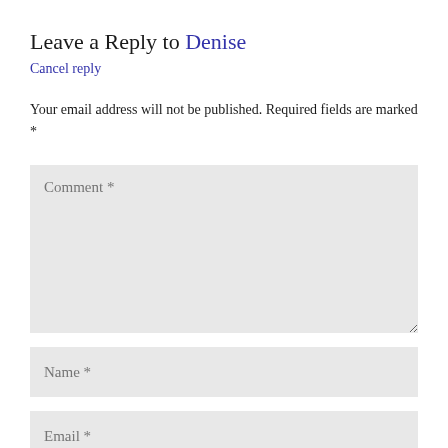Leave a Reply to Denise
Cancel reply
Your email address will not be published. Required fields are marked *
Comment *
Name *
Email *